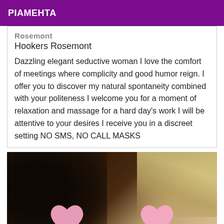PIAMEHTA
Hookers Rosemont
Dazzling elegant seductive woman I love the comfort of meetings where complicity and good humor reign. I offer you to discover my natural spontaneity combined with your politeness I welcome you for a moment of relaxation and massage for a hard day's work I will be attentive to your desires I receive you in a discreet setting NO SMS, NO CALL MASKS
[Figure (photo): Close-up photo of two women with dark curly hair and blonde hair, with pink heart emojis overlaid on the lower portion of the image.]